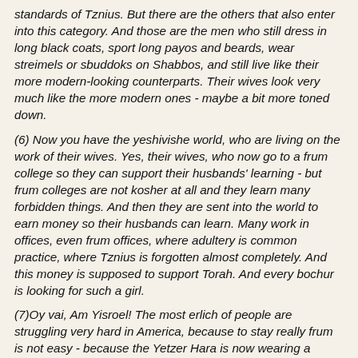standards of Tznius. But there are the others that also enter into this category. And those are the men who still dress in long black coats, sport long payos and beards, wear streimels or sbuddoks on Shabbos, and still live like their more modern-looking counterparts. Their wives look very much like the more modern ones - maybe a bit more toned down.
(6) Now you have the yeshivishe world, who are living on the work of their wives. Yes, their wives, who now go to a frum college so they can support their husbands' learning - but frum colleges are not kosher at all and they learn many forbidden things. And then they are sent into the world to earn money so their husbands can learn. Many work in offices, even frum offices, where adultery is common practice, where Tznius is forgotten almost completely. And this money is supposed to support Torah. And every bochur is looking for such a girl.
(7)Oy vai, Am Yisroel! The most erlich of people are struggling very hard in America, because to stay really frum is not easy - because the Yetzer Hara is now wearing a